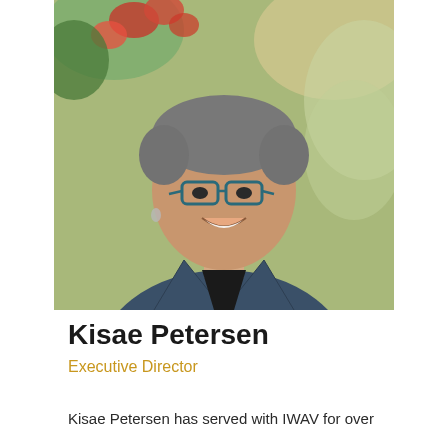[Figure (photo): Professional headshot of Kisae Petersen, a woman with short grey hair and glasses wearing a blue-grey blazer, smiling outdoors with blurred foliage in the background.]
Kisae Petersen
Executive Director
Kisae Petersen has served with IWAV for over